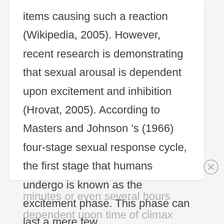items causing such a reaction (Wikipedia, 2005). However, recent research is demonstrating that sexual arousal is dependent upon excitement and inhibition (Hrovat, 2005). According to Masters and Johnson 's (1966) four-stage sexual response cycle, the first stage that humans undergo is known as the excitement phase. This phase can last a mere few
minutes or even several hours dependent upon time of climax (Huffman, 2005). There are several